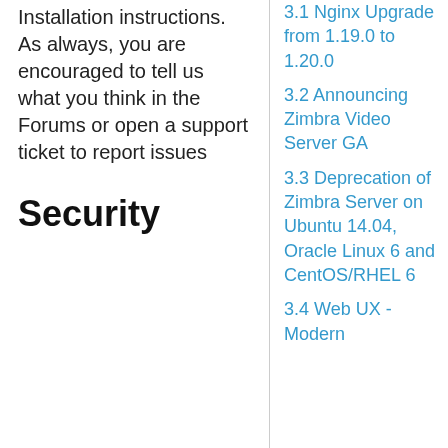Installation instructions. As always, you are encouraged to tell us what you think in the Forums or open a support ticket to report issues
Security
3.1 Nginx Upgrade from 1.19.0 to 1.20.0
3.2 Announcing Zimbra Video Server GA
3.3 Deprecation of Zimbra Server on Ubuntu 14.04, Oracle Linux 6 and CentOS/RHEL 6
3.4 Web UX - Modern